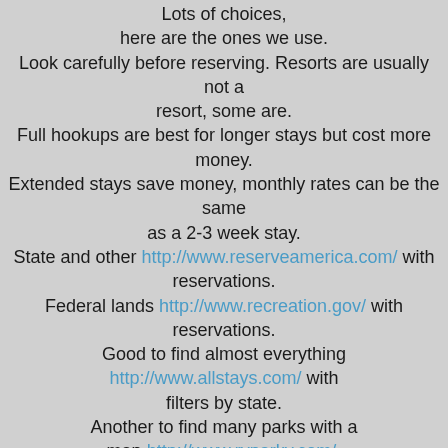Lots of choices, here are the ones we use. Look carefully before reserving. Resorts are usually not a resort, some are. Full hookups are best for longer stays but cost more money. Extended stays save money, monthly rates can be the same as a 2-3 week stay. State and other http://www.reserveamerica.com/ with reservations. Federal lands http://www.recreation.gov/ with reservations. Good to find almost everything http://www.allstays.com/ with filters by state. Another to find many parks with a map http://www.rvparky.com/. Reviews are a big help with BS filter activated http://www.rvparkreviews.com/ Good Sam also has reviews. Search Google for reviews and there are many more available.
7. Google Earth is required! Here are some things you can do with it.
Don't reserve until you use Google Earth to see for yourself, up close.